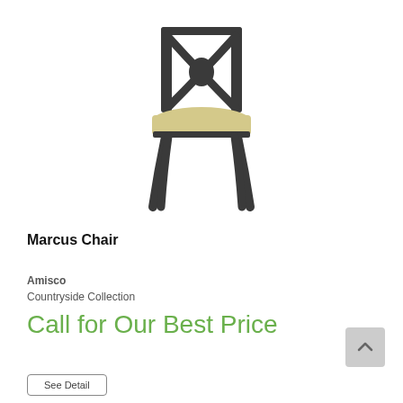[Figure (photo): A dining chair with a dark metal frame featuring an X-back design and a beige/cream cushioned seat. The chair has four slightly angled legs. The background is white.]
Marcus Chair
Amisco
Countryside Collection
Call for Our Best Price
See Detail